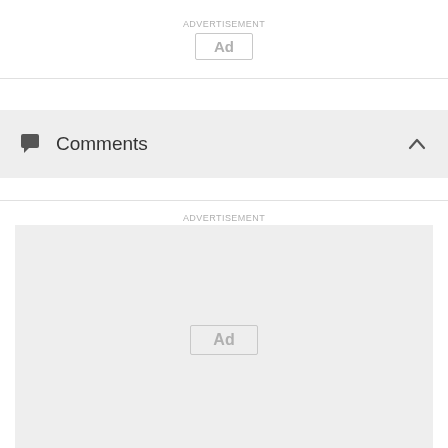[Figure (other): Advertisement placeholder box at top with 'ADVERTISEMENT' label and 'Ad' box]
Comments
[Figure (other): Large advertisement placeholder box with 'ADVERTISEMENT' label and 'Ad' box]